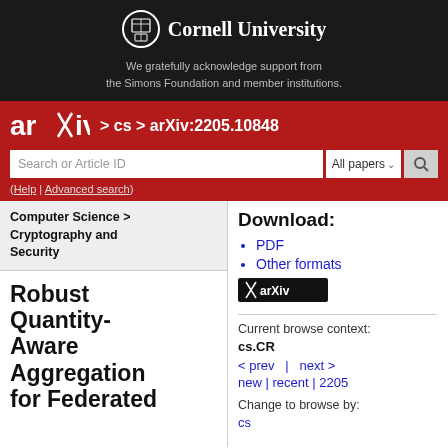[Figure (logo): Cornell University logo with seal and name on dark background, with support acknowledgement text]
We gratefully acknowledge support from the Simons Foundation and member institutions.
[Figure (logo): arXiv logo on red background with breadcrumb: > cs > arXiv:2205.10848, search bar and help links]
Computer Science > Cryptography and Security
Robust Quantity-Aware Aggregation for Federated
Download:
PDF
Other formats
Current browse context:
cs.CR
< prev   |   next >
new | recent | 2205
Change to browse by:
cs